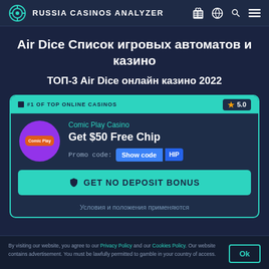RUSSIA CASINOS ANALYZER
Air Dice Список игровых автоматов и казино
ТОП-3 Air Dice онлайн казино 2022
[Figure (infographic): Casino card for Comic Play Casino with #1 OF TOP ONLINE CASINOS badge, rating 5.0, Get $50 Free Chip offer, Promo code Show code button, and GET NO DEPOSIT BONUS CTA button]
Условия и положения применяются
By visiting our website, you agree to our Privacy Policy and our Cookies Policy. Our website contains advertisement. You must be lawfully permitted to gamble in your country of access.